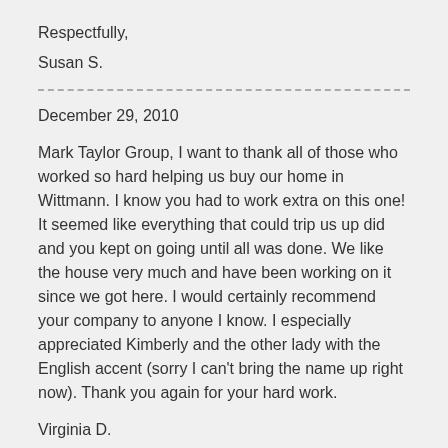Respectfully,
Susan S.
December 29, 2010
Mark Taylor Group, I want to thank all of those who worked so hard helping us buy our home in Wittmann. I know you had to work extra on this one! It seemed like everything that could trip us up did and you kept on going until all was done. We like the house very much and have been working on it since we got here. I would certainly recommend your company to anyone I know. I especially appreciated Kimberly and the other lady with the English accent (sorry I can't bring the name up right now). Thank you again for your hard work.
Virginia D.